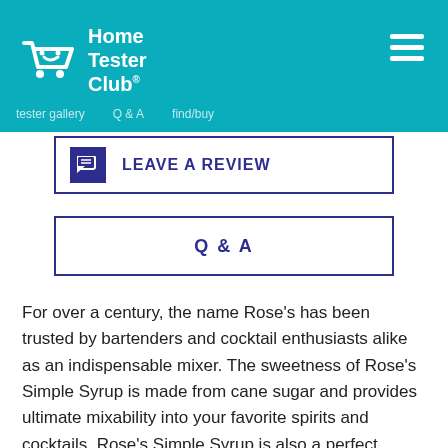Home Tester Club®
LEAVE A REVIEW
Q & A
For over a century, the name Rose's has been trusted by bartenders and cocktail enthusiasts alike as an indispensable mixer. The sweetness of Rose's Simple Syrup is made from cane sugar and provides ultimate mixability into your favorite spirits and cocktails. Rose's Simple Syrup is also a perfect accent for non-alcoholic beverages to add sweetness. When it comes to a quality mixer, there are no exceptions or substitutions for the trusted brand Rose's. Please